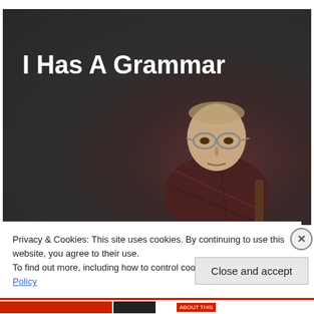[Figure (photo): Dark background photo showing an older man with glasses and a plaid shirt, looking toward the camera. White bold text overlay reads 'I Has A Grammar'.]
Privacy & Cookies: This site uses cookies. By continuing to use this website, you agree to their use.
To find out more, including how to control cookies, see here: Cookie Policy
Close and accept